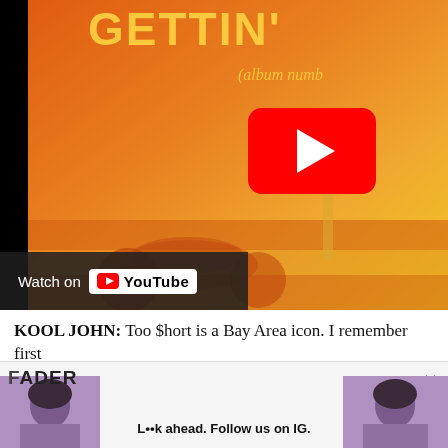[Figure (screenshot): YouTube video embed showing a Too $hort album cover (orange/yellow tones with a car and text 'GETTIN' and 'album numb...'). A red YouTube play button is centered on the image. A 'Watch on YouTube' bar appears at the bottom left of the video.]
KOOL JOHN: Too $hort is a Bay Area icon. I remember first
[Figure (screenshot): FADER advertisement banner. Shows 'FADER' logo text, two photos of a woman, and text 'L••k ahead. Follow us on IG.' with an X close button.]